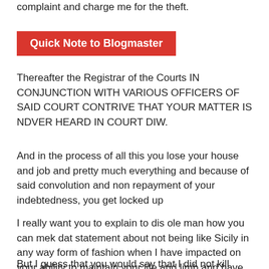complaint and charge me for the theft.
Quick Note to Blogmaster
Thereafter the Registrar of the Courts IN CONJUNCTION WITH VARIOUS OFFICERS OF SAID COURT CONTRIVE THAT YOUR MATTER IS NDVER HEARD IN COURT DIW.
And in the process of all this you lose your house and job and pretty much everything and because of said convolution and non repayment of your indebtedness, you get locked up
I really want you to explain to dis ole man how you can mek dat statement about not being like Sicily in any way form of fashion when I have impacted on your ability to maintain your life and limb and have had you incarcerated .
But I guess that you would say that I did not kill